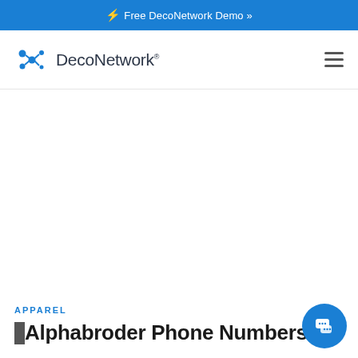⚡ Free DecoNetwork Demo »
[Figure (logo): DecoNetwork logo with blue molecule/dots icon and DecoNetwork® wordmark]
APPAREL
Alphabroder Phone Numbers –